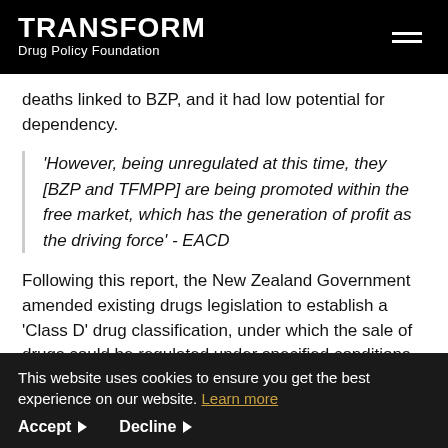TRANSFORM Drug Policy Foundation
deaths linked to BZP, and it had low potential for dependency.
'However, being unregulated at this time, they [BZP and TFMPP] are being promoted within the free market, which has the generation of profit as the driving force' - EACD
Following this report, the New Zealand Government amended existing drugs legislation to establish a 'Class D' drug classification, under which the sale of drugs could be regulated under specified conditions. BZP was placed in
This website uses cookies to ensure you get the best experience on our website. Learn more
Accept  Decline